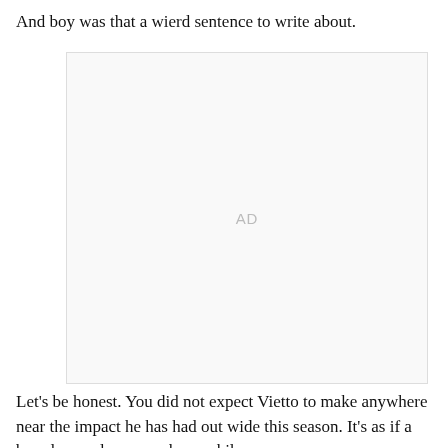And boy was that a wierd sentence to write about.
[Figure (other): Advertisement placeholder box with 'AD' label centered inside a light gray bordered rectangle.]
Let's be honest. You did not expect Vietto to make anywhere near the impact he has had out wide this season. It's as if a brand new player was born while